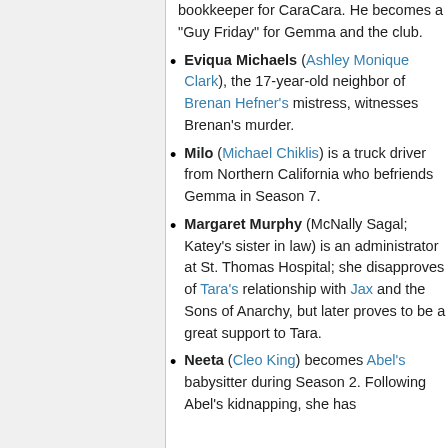bookkeeper for CaraCara. He becomes a "Guy Friday" for Gemma and the club.
Eviqua Michaels (Ashley Monique Clark), the 17-year-old neighbor of Brenan Hefner's mistress, witnesses Brenan's murder.
Milo (Michael Chiklis) is a truck driver from Northern California who befriends Gemma in Season 7.
Margaret Murphy (McNally Sagal; Katey's sister in law) is an administrator at St. Thomas Hospital; she disapproves of Tara's relationship with Jax and the Sons of Anarchy, but later proves to be a great support to Tara.
Neeta (Cleo King) becomes Abel's babysitter during Season 2. Following Abel's kidnapping, she has